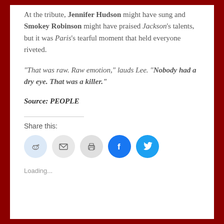At the tribute, Jennifer Hudson might have sung and Smokey Robinson might have praised Jackson's talents, but it was Paris's tearful moment that held everyone riveted.
“That was raw. Raw emotion,” lauds Lee. “Nobody had a dry eye. That was a killer.”
Source: PEOPLE
Share this:
[Figure (infographic): Share buttons: Reddit, Email, Print, Facebook, Twitter]
Loading...